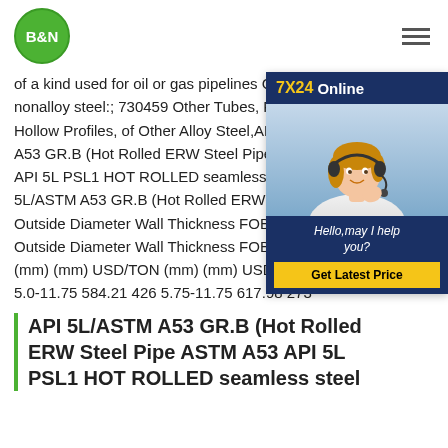B&N
of a kind used for oil or gas pipelines C nonalloy steel:; 730459 Other Tubes, P Hollow Profiles, of Other Alloy Steel,AP A53 GR.B (Hot Rolled ERW Steel Pipe API 5L PSL1 HOT ROLLED seamless 5L/ASTM A53 GR.B (Hot Rolled ERW Outside Diameter Wall Thickness FOB Outside Diameter Wall Thickness FOB (mm) (mm) USD/TON (mm) (mm) USD/TON 219245 5.0-11.75 584.21 426 5.75-11.75 617.98 273
[Figure (other): Customer service chat widget with 7X24 Online header, photo of woman with headset, Hello,may I help you? message, and Get Latest Price button]
API 5L/ASTM A53 GR.B (Hot Rolled ERW Steel Pipe ASTM A53 API 5L PSL1 HOT ROLLED seamless steel